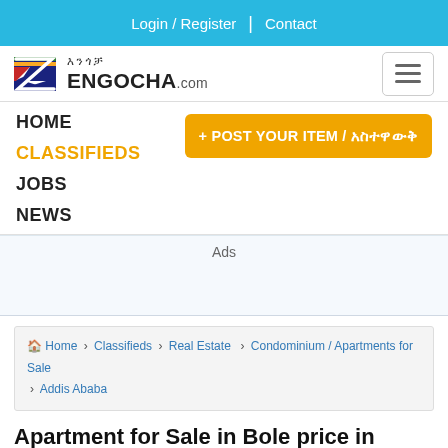Login / Register | Contact
[Figure (logo): Engocha.com logo with Amharic text and stylized Z icon]
HOME
CLASSIFIEDS
JOBS
NEWS
+ POST YOUR ITEM / አስተዋውቅ
Ads
🏠 Home › Classifieds › Real Estate › Condominium / Apartments for Sale › Addis Ababa
Apartment for Sale in Bole price in Ethiopia